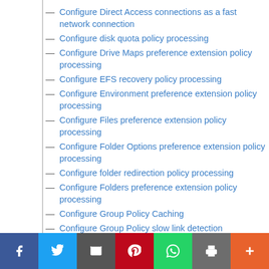Configure Direct Access connections as a fast network connection
Configure disk quota policy processing
Configure Drive Maps preference extension policy processing
Configure EFS recovery policy processing
Configure Environment preference extension policy processing
Configure Files preference extension policy processing
Configure Folder Options preference extension policy processing
Configure folder redirection policy processing
Configure Folders preference extension policy processing
Configure Group Policy Caching
Configure Group Policy slow link detection
Configure Ini Files preference extension policy processing